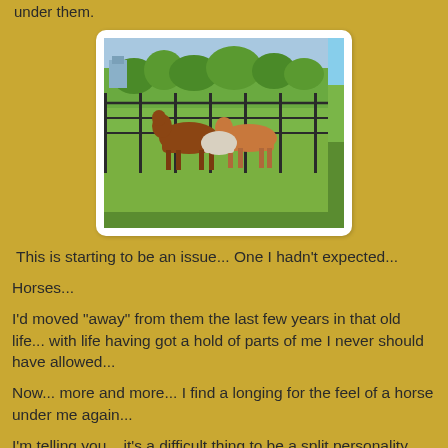under them.
[Figure (photo): Horses in a metal pen/corral with green grass, trees, and a building in the background]
This is starting to be an issue... One I hadn't expected...
Horses...
I'd moved "away" from them the last few years in that old life... with life having got a hold of parts of me I never should have allowed...
Now... more and more... I find a longing for the feel of a horse under me again...
I'm telling you... it's a difficult thing to be a split personality